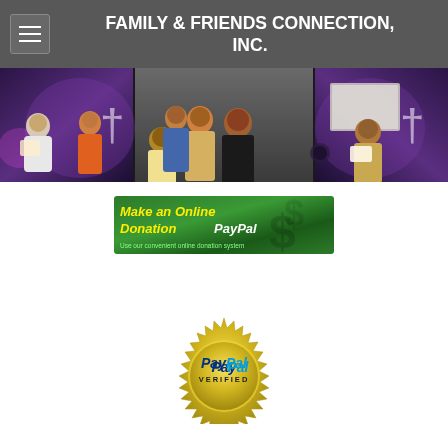FAMILY & FRIENDS CONNECTION, INC.
[Figure (photo): Event photo collage showing people at a church/community event with purple lighting and white crosses in background]
[Figure (screenshot): Make an Online Donation PayPal banner - green background with yellow text 'Make an Online Donation' and PayPal logo, subtext 'Use our convenient online donation system']
[Figure (logo): PayPal Verified gold seal badge with spiked/starburst border]